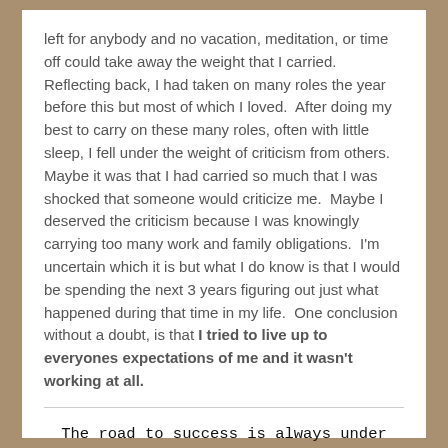left for anybody and no vacation, meditation, or time off could take away the weight that I carried.  Reflecting back, I had taken on many roles the year before this but most of which I loved.  After doing my best to carry on these many roles, often with little sleep, I fell under the weight of criticism from others.  Maybe it was that I had carried so much that I was shocked that someone would criticize me.  Maybe I deserved the criticism because I was knowingly carrying too many work and family obligations.  I'm uncertain which it is but what I do know is that I would be spending the next 3 years figuring out just what happened during that time in my life.  One conclusion without a doubt, is that I tried to live up to everyones expectations of me and it wasn't working at all.
The road to success is always under construction.